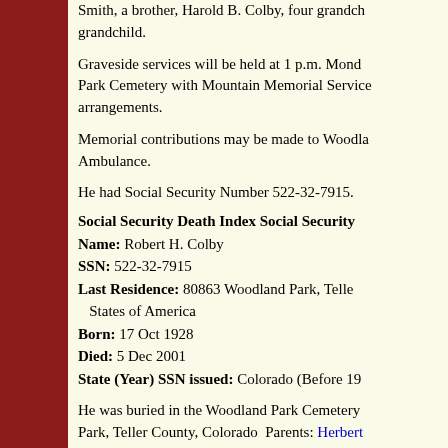Smith, a brother, Harold B. Colby, four grandchildren and one great grandchild.
Graveside services will be held at 1 p.m. Monday at Woodland Park Cemetery with Mountain Memorial Services in charge of arrangements.
Memorial contributions may be made to Woodland Park Ambulance.
He had Social Security Number 522-32-7915.
Social Security Death Index Social Security Name: Robert H. Colby SSN: 522-32-7915 Last Residence: 80863 Woodland Park, Teller, United States of America Born: 17 Oct 1928 Died: 5 Dec 2001 State (Year) SSN issued: Colorado (Before 19
He was buried in the Woodland Park Cemetery, Woodland Park, Teller County, Colorado Parents: Herbert and Elsie Elizabeth CARVER.